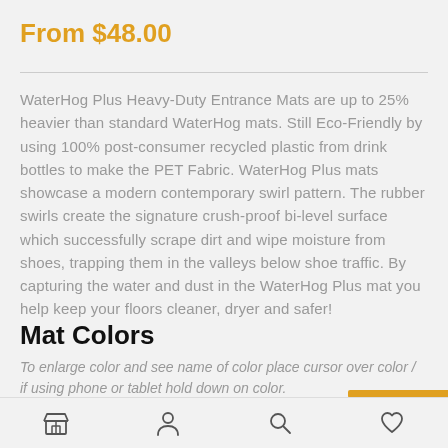From $48.00
WaterHog Plus Heavy-Duty Entrance Mats are up to 25% heavier than standard WaterHog mats. Still Eco-Friendly by using 100% post-consumer recycled plastic from drink bottles to make the PET Fabric. WaterHog Plus mats showcase a modern contemporary swirl pattern. The rubber swirls create the signature crush-proof bi-level surface which successfully scrape dirt and wipe moisture from shoes, trapping them in the valleys below shoe traffic. By capturing the water and dust in the WaterHog Plus mat you help keep your floors cleaner, dryer and safer!
Mat Colors
To enlarge color and see name of color place cursor over color / if using phone or tablet hold down on color.